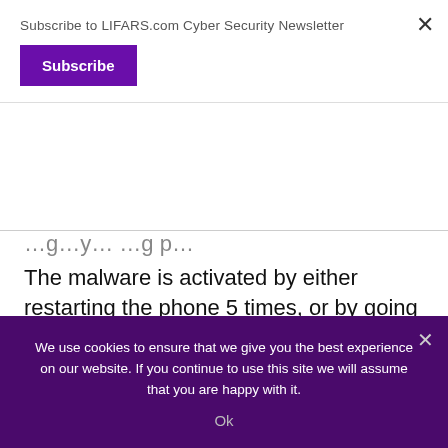Subscribe to LIFARS.com Cyber Security Newsletter
Subscribe
The malware is activated by either restarting the phone 5 times, or by going in and out of stand-by mode (turning of the screen) 50 times.
Victims are also out of luck if they think that installing antivirus apps will help them in any
We use cookies to ensure that we give you the best experience on our website. If you continue to use this site we will assume that you are happy with it.
Ok